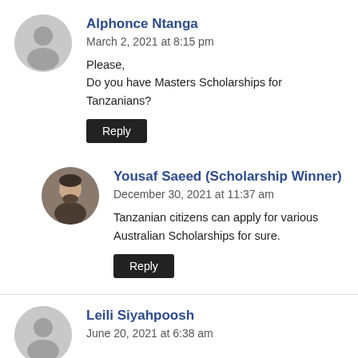Alphonce Ntanga
March 2, 2021 at 8:15 pm
Please,
Do you have Masters Scholarships for Tanzanians?
Reply
Yousaf Saeed (Scholarship Winner)
December 30, 2021 at 11:37 am
Tanzanian citizens can apply for various Australian Scholarships for sure.
Reply
Leili Siyahpoosh
June 20, 2021 at 6:38 am